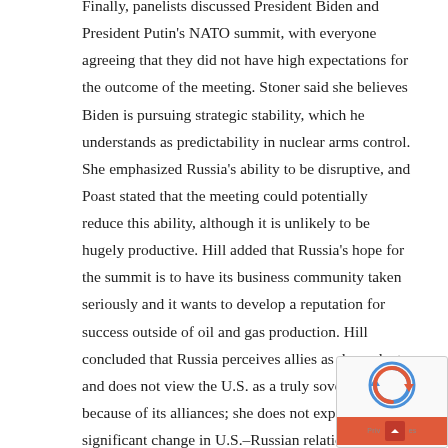Finally, panelists discussed President Biden and President Putin's NATO summit, with everyone agreeing that they did not have high expectations for the outcome of the meeting. Stoner said she believes Biden is pursuing strategic stability, which he understands as predictability in nuclear arms control. She emphasized Russia's ability to be disruptive, and Poast stated that the meeting could potentially reduce this ability, although it is unlikely to be hugely productive. Hill added that Russia's hope for the summit is to have its business community taken seriously and it wants to develop a reputation for success outside of oil and gas production. Hill concluded that Russia perceives allies as dependents and does not view the U.S. as a truly sovereign state because of its alliances; she does not expect significant change in U.S.–Russian relations due to Russia's realist standpoint.
[Figure (other): reCAPTCHA widget overlay in the bottom-right corner of the page, showing the reCAPTCHA logo and a privacy bar with an arrow button.]